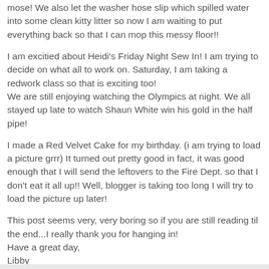mose! We also let the washer hose slip which spilled water into some clean kitty litter so now I am waiting to put everything back so that I can mop this messy floor!!
I am excitied about Heidi's Friday Night Sew In! I am trying to decide on what all to work on. Saturday, I am taking a redwork class so that is exciting too!
We are still enjoying watching the Olympics at night. We all stayed up late to watch Shaun White win his gold in the half pipe!
I made a Red Velvet Cake for my birthday. (i am trying to load a picture grrr) It turned out pretty good in fact, it was good enough that I will send the leftovers to the Fire Dept. so that I don't eat it all up!! Well, blogger is taking too long I will try to load the picture up later!
This post seems very, very boring so if you are still reading til the end...I really thank you for hanging in!
Have a great day,
Libby